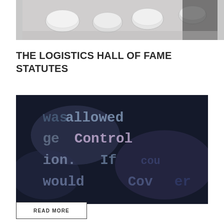[Figure (photo): Photo of small white cylindrical objects (pills or tokens) on a light gray surface]
THE LOGISTICS HALL OF FAME STATUTES
[Figure (photo): Close-up photo of a dark computer screen showing partially visible code or text including words: allowed, Control, ion. If, would, Cover]
READ MORE